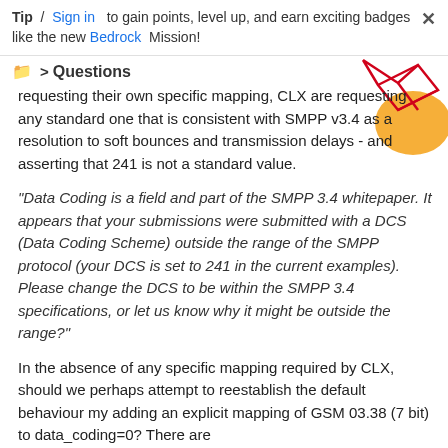Tip / Sign in to gain points, level up, and earn exciting badges like the new Bedrock Mission!
Questions
[Figure (illustration): Decorative geometric network diagram with red lines and orange shapes in the top-right corner]
requesting their own specific mapping, CLX are requesting any standard one that is consistent with SMPP v3.4 as a resolution to soft bounces and transmission delays - and asserting that 241 is not a standard value.
"Data Coding is a field and part of the SMPP 3.4 whitepaper. It appears that your submissions were submitted with a DCS (Data Coding Scheme) outside the range of the SMPP protocol (your DCS is set to 241 in the current examples). Please change the DCS to be within the SMPP 3.4 specifications, or let us know why it might be outside the range?"
In the absence of any specific mapping required by CLX, should we perhaps attempt to reestablish the default behaviour my adding an explicit mapping of GSM 03.38 (7 bit) to data_coding=0? There are